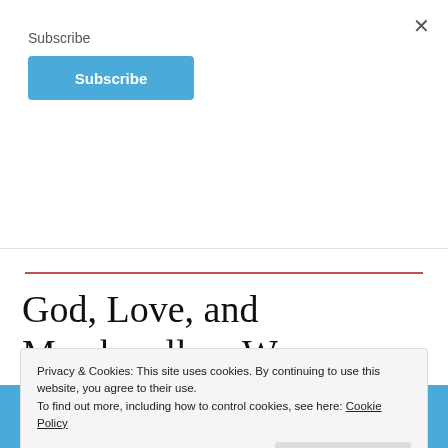Subscribe
Subscribe
×
Go to the Channel
God, Love, and Marshmallow Wars
Privacy & Cookies: This site uses cookies. By continuing to use this website, you agree to their use.
To find out more, including how to control cookies, see here: Cookie Policy
Close and accept
Wars: